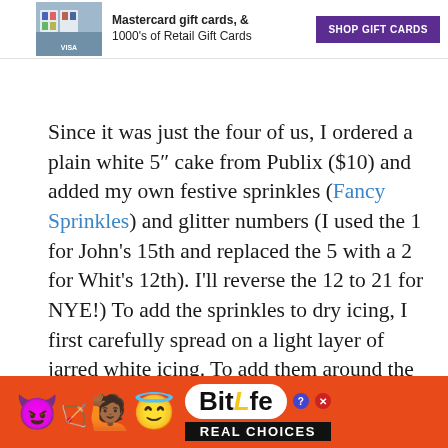[Figure (other): Top banner advertisement for gift cards showing a store shelf with gift cards displayed, text reading 'Mastercard gift cards, & 1000's of Retail Gift Cards' with a purple 'SHOP GIFT CARDS' button]
Since it was just the four of us, I ordered a plain white 5″ cake from Publix ($10) and added my own festive sprinkles (Fancy Sprinkles) and glitter numbers (I used the 1 for John's 15th and replaced the 5 with a 2 for Whit's 12th). I'll reverse the 12 to 21 for NYE!) To add the sprinkles to dry icing, I first carefully spread on a light layer of jarred white icing. To add them around the bottom border, I just pressed them in to the existing icing. I added gold prism powder around the edges as well (Fancy Sprinkles).
[Figure (other): Bottom banner advertisement for BitLife game showing colorful emojis (devil, person with arms raised, winking face with halo, sperm) on orange background with BitLife logo and 'REAL CHOICES' text]